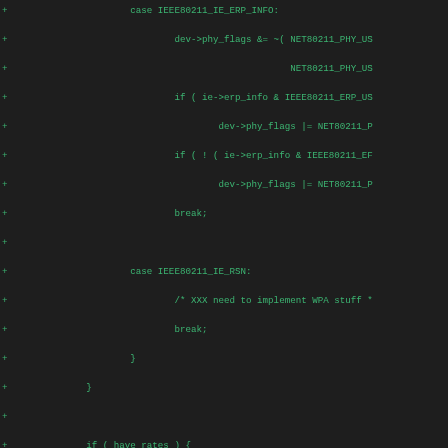[Figure (screenshot): Code diff showing C source code additions (green + lines) with IEEE80211 wireless networking functions including ERP info handling, RSN case, have_rates block with rate filtering loop and hardware support check.]